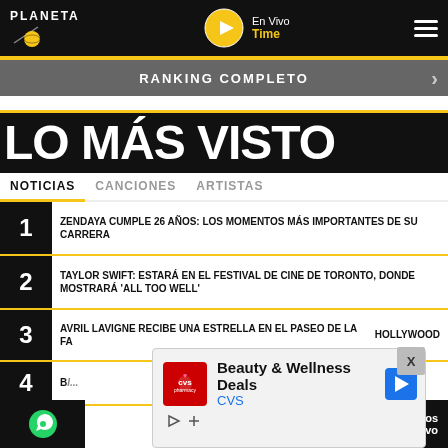PLANETA | En Vivo Time
RANKING COMPLETO
LO MÁS VISTO
NOTICIAS  CANCIONES  ARTISTAS
1 ZENDAYA CUMPLE 26 AÑOS: LOS MOMENTOS MÁS IMPORTANTES DE SU CARRERA
2 TAYLOR SWIFT: ESTARÁ EN EL FESTIVAL DE CINE DE TORONTO, DONDE MOSTRARÁ 'ALL TOO WELL'
3 AVRIL LAVIGNE RECIBE UNA ESTRELLA EN EL PASEO DE LA FAMA DE HOLLYWOOD
4 Bi... S" ...chanos n vivo
[Figure (screenshot): CVS Beauty & Wellness Deals advertisement overlay with close button]